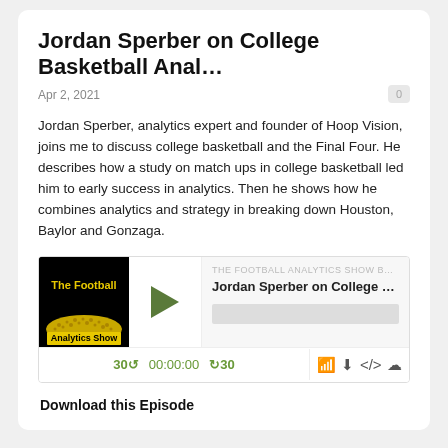Jordan Sperber on College Basketball Anal…
Apr 2, 2021
Jordan Sperber, analytics expert and founder of Hoop Vision, joins me to discuss college basketball and the Final Four. He describes how a study on match ups in college basketball led him to early success in analytics. Then he shows how he combines analytics and strategy in breaking down Houston, Baylor and Gonzaga.
[Figure (screenshot): Podcast player widget for 'Jordan Sperber on College Basketball Baske...' on The Football Analytics Show by The Pow. Shows album art, play button, track info with progress bar, and controls: 30 back, 00:00:00, forward 30, RSS, download, embed, and share icons.]
Download this Episode
1